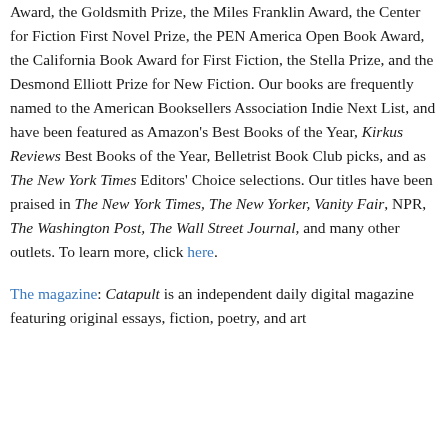Award, the Goldsmith Prize, the Miles Franklin Award, the Center for Fiction First Novel Prize, the PEN America Open Book Award, the California Book Award for First Fiction, the Stella Prize, and the Desmond Elliott Prize for New Fiction. Our books are frequently named to the American Booksellers Association Indie Next List, and have been featured as Amazon's Best Books of the Year, Kirkus Reviews Best Books of the Year, Belletrist Book Club picks, and as The New York Times Editors' Choice selections. Our titles have been praised in The New York Times, The New Yorker, Vanity Fair, NPR, The Washington Post, The Wall Street Journal, and many other outlets. To learn more, click here.
The magazine: Catapult is an independent daily digital magazine featuring original essays, fiction, poetry, and art